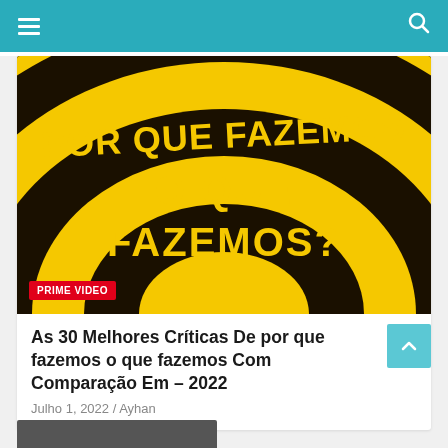≡  [navigation]  🔍
[Figure (illustration): Book or documentary cover with concentric dark brown and yellow semicircles, bold yellow text reading 'POR QUE FAZEMOS O QUE FAZEMOS?' and a red 'PRIME VIDEO' badge in the lower left corner.]
As 30 Melhores Críticas De por que fazemos o que fazemos Com Comparação Em – 2022
Julho 1, 2022 / Ayhan